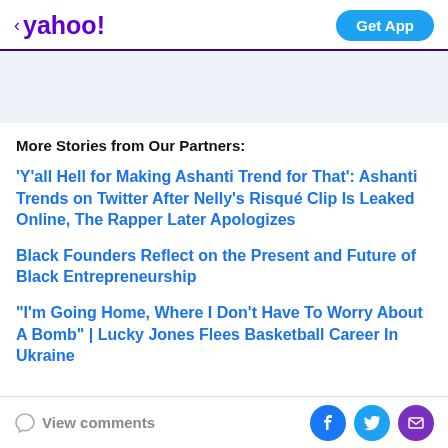yahoo! Get App
[Figure (other): Light blue advertisement banner area]
More Stories from Our Partners:
'Y'all Hell for Making Ashanti Trend for That': Ashanti Trends on Twitter After Nelly's Risqué Clip Is Leaked Online, The Rapper Later Apologizes
Black Founders Reflect on the Present and Future of Black Entrepreneurship
“I'm Going Home, Where I Don’t Have To Worry About A Bomb” | Lucky Jones Flees Basketball Career In Ukraine
View comments